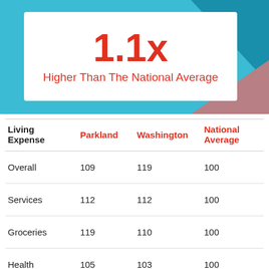[Figure (infographic): Teal banner background with white card showing 1.1x in red and subtitle 'Higher Than The National Average' in red, with teal and pink triangle decorations in upper-right and lower-right corners]
1.1x
Higher Than The National Average
| Living Expense | Parkland | Washington | National Average |
| --- | --- | --- | --- |
| Overall | 109 | 119 | 100 |
| Services | 112 | 112 | 100 |
| Groceries | 119 | 110 | 100 |
| Health | 105 | 103 | 100 |